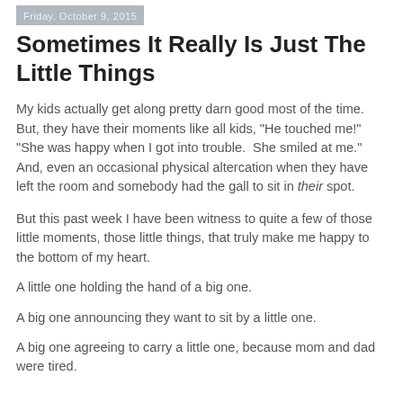Friday, October 9, 2015
Sometimes It Really Is Just The Little Things
My kids actually get along pretty darn good most of the time. But, they have their moments like all kids, "He touched me!" "She was happy when I got into trouble. She smiled at me." And, even an occasional physical altercation when they have left the room and somebody had the gall to sit in their spot.
But this past week I have been witness to quite a few of those little moments, those little things, that truly make me happy to the bottom of my heart.
A little one holding the hand of a big one.
A big one announcing they want to sit by a little one.
A big one agreeing to carry a little one, because mom and dad were tired.